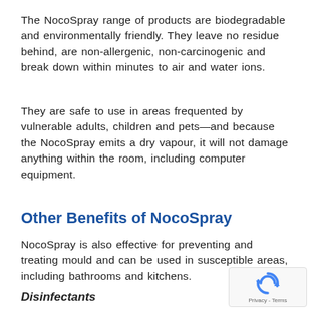The NocoSpray range of products are biodegradable and environmentally friendly. They leave no residue behind, are non-allergenic, non-carcinogenic and break down within minutes to air and water ions.
They are safe to use in areas frequented by vulnerable adults, children and pets—and because the NocoSpray emits a dry vapour, it will not damage anything within the room, including computer equipment.
Other Benefits of NocoSpray
NocoSpray is also effective for preventing and treating mould and can be used in susceptible areas, including bathrooms and kitchens.
Disinfectants
[Figure (logo): reCAPTCHA badge with circular arrow icon and Privacy - Terms text]